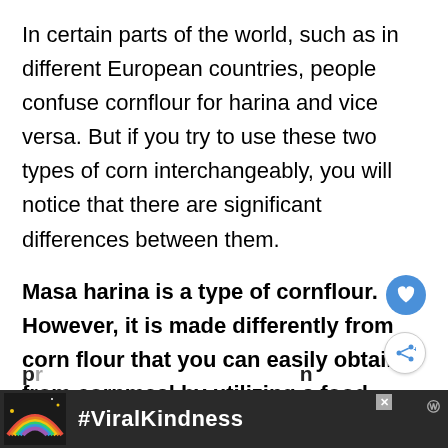In certain parts of the world, such as in different European countries, people confuse cornflour for harina and vice versa. But if you try to use these two types of corn interchangeably, you will notice that there are significant differences between them.
Masa harina is a type of cornflour. However, it is made differently from corn flour that you can easily obtain from cornmeal by utilizing a food processor.
[Figure (other): Advertisement banner with rainbow illustration and #ViralKindness text on dark background, with close button and TV network logo]